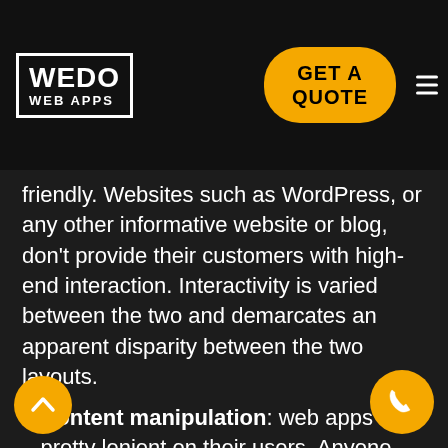[Figure (logo): WEDO WEB APPS logo in white on dark background]
[Figure (other): GET A QUOTE orange rounded button]
friendly. Websites such as WordPress, or any other informative website or blog, don't provide their customers with high-end interaction. Interactivity is varied between the two and demarcates an apparent disparity between the two layouts.
Content manipulation: web apps are pretty lenient on their users. Anyone using a web app can manipulate the data present on it. The user can seamlessly read the data and alter certain things, wherever possible, on the web application. On the